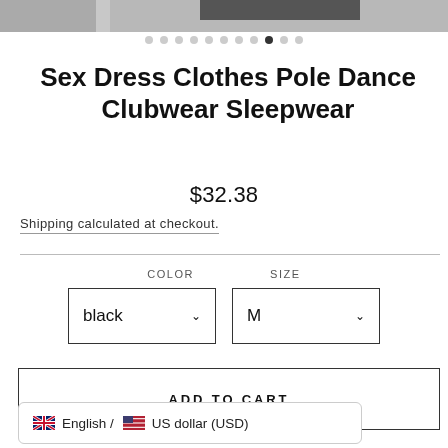[Figure (photo): Top portion of a product image showing a model wearing dark clothing, partially cropped]
[Figure (other): Carousel navigation dots, 11 total with the 9th dot filled/active]
Sex Dress Clothes Pole Dance Clubwear Sleepwear
$32.38
Shipping calculated at checkout.
COLOR
SIZE
black
M
ADD TO CART
English / US dollar (USD)